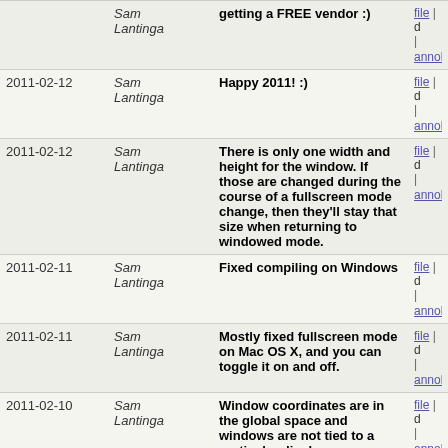| Date | Author | Message | Links |
| --- | --- | --- | --- |
|  | Sam Lantinga | getting a FREE vendor :) | file | d
|
annob |
| 2011-02-12 | Sam Lantinga | Happy 2011! :) | file | d
|
annob |
| 2011-02-12 | Sam Lantinga | There is only one width and height for the window. If those are changed during the course of a fullscreen mode change, then they'll stay that size when returning to windowed mode. | file | d
|
annob |
| 2011-02-11 | Sam Lantinga | Fixed compiling on Windows | file | d
|
annob |
| 2011-02-11 | Sam Lantinga | Mostly fixed fullscreen mode on Mac OS X, and you can toggle it on and off. | file | d
|
annob |
| 2011-02-10 | Sam Lantinga | Window coordinates are in the global space and windows are not tied to a particular display. | file | d
|
annob |
| 2011-02-10 | Sam Lantinga | Be explicit about what display you're querying. The default display is 0. | file | d
|
annob |
| 2011-02-10 | Sam Lantinga | Removed gamma support since it wasn't widely used and not well supported. | file | d
|
annob |
| 2011-02-10 | Sam Lantinga | Better window parameter checking | file | d
|
annob |
| 2011-02-07 | Sam Lantinga | Create an OpenGL 1.1 context by default, if available. | file | d
|
annob |
| 2011-02-06 | Sam Lantinga | Whoops, duplicate case | file | d
|
annob |